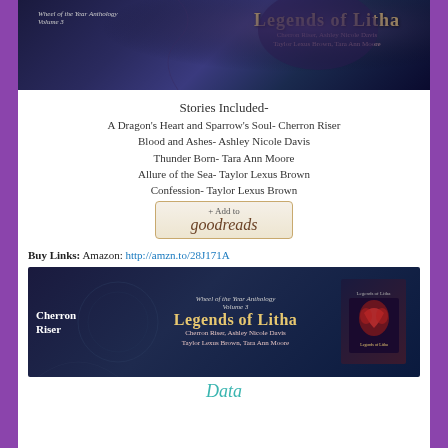[Figure (photo): Book cover for 'Legends of Litha' - Wheel of the Year Anthology Volume 3, showing fantasy dragon imagery with authors Cherron Riser, Ashley Nicole Davis, Taylor Lexus Brown, Tara Ann Moore]
Stories Included-
A Dragon's Heart and Sparrow's Soul- Cherron Riser
Blood and Ashes- Ashley Nicole Davis
Thunder Born- Tara Ann Moore
Allure of the Sea- Taylor Lexus Brown
Confession- Taylor Lexus Brown
[Figure (screenshot): + Add to goodreads button]
Buy Links: Amazon: http://amzn.to/28J171A
[Figure (photo): Banner image for Legends of Litha - Wheel of the Year Anthology Volume 3 featuring Cherron Riser branding and authors: Cherron Riser, Ashley Nicole Davis, Taylor Lexus Brown, Tara Ann Moore]
Partial text visible at bottom (cut off)